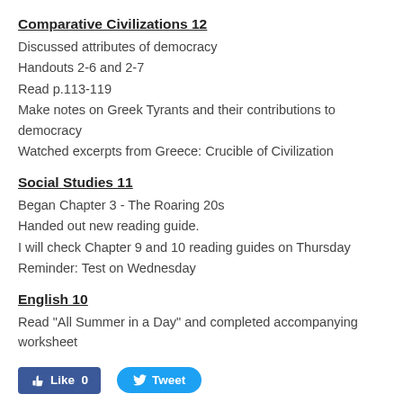Comparative Civilizations 12
Discussed attributes of democracy
Handouts 2-6 and 2-7
Read p.113-119
Make notes on Greek Tyrants and their contributions to democracy
Watched excerpts from Greece: Crucible of Civilization
Social Studies 11
Began Chapter 3 - The Roaring 20s
Handed out new reading guide.
I will check Chapter 9 and 10 reading guides on Thursday
Reminder:  Test on Wednesday
English 10
Read "All Summer in a Day" and completed accompanying worksheet
[Figure (other): Facebook Like button (0 likes) and Twitter Tweet button]
Monday, March 21, 2016